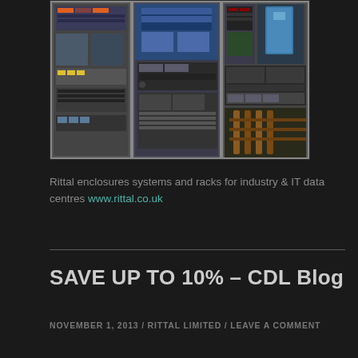[Figure (photo): Rittal industrial enclosures, server racks, and IT cabinets shown open with electronic components, circuit boards, and cooling equipment inside, arranged side by side against a dark background]
Rittal enclosures systems and racks for industry & IT data centres www.rittal.co.uk
SAVE UP TO 10% – CDL Blog
NOVEMBER 1, 2013 / RITTAL LIMITED / LEAVE A COMMENT